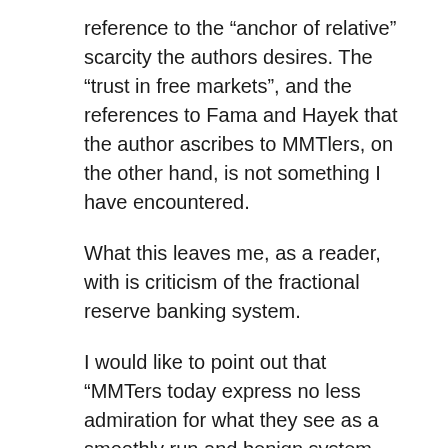reference to the “anchor of relative” scarcity the authors desires. The “trust in free markets”, and the references to Fama and Hayek that the author ascribes to MMTlers, on the other hand, is not something I have encountered.
What this leaves me, as a reader, with is criticism of the fractional reserve banking system.
I would like to point out that “MMTers today express no less admiration for what they see as a smoothly run and benign system, apparently unimpressed by the long list of dysfunctions of fractional reserve banking that has been drawn by so many scholars over the last two centuries” seems to be another mischaracterization to me.